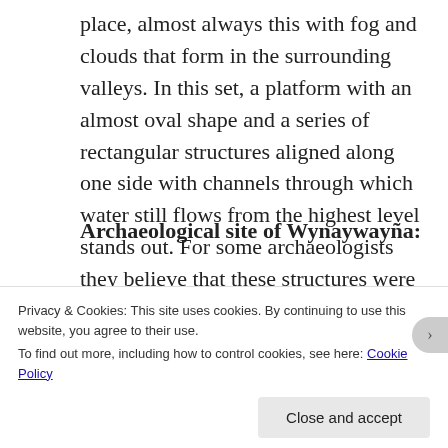place, almost always this with fog and clouds that form in the surrounding valleys. In this set, a platform with an almost oval shape and a series of rectangular structures aligned along one side with channels through which water still flows from the highest level stands out. For some archaeologists they believe that these structures were of baths with some ritual function.
Archaeological site of Wynaywayña:
This at 2645m was revealed by Paul Fejos in 1941 and then in 1948 the Romanian archaeologist Julia C...
Privacy & Cookies: This site uses cookies. By continuing to use this website, you agree to their use.
To find out more, including how to control cookies, see here: Cookie Policy